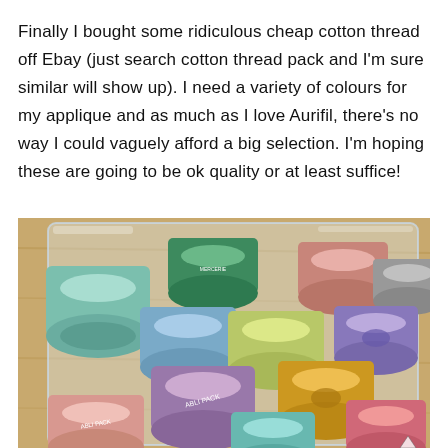Finally I bought some ridiculous cheap cotton thread off Ebay (just search cotton thread pack and I'm sure similar will show up). I need a variety of colours for my applique and as much as I love Aurifil, there's no way I could vaguely afford a big selection. I'm hoping these are going to be ok quality or at least suffice!
[Figure (photo): A photograph of multiple colourful cotton thread spools (bobbins) in various colours including green, blue, yellow, purple, pink, teal, gold/orange, and rose, arranged in a clear plastic bag on a wooden surface. The spools appear to be branded 'ABLI PACK' or similar.]